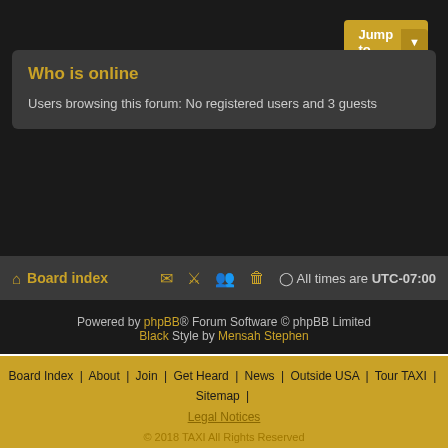Jump to
Who is online
Users browsing this forum: No registered users and 3 guests
Board index   All times are UTC-07:00
Powered by phpBB® Forum Software © phpBB Limited Black Style by Mensah Stephen
Board Index | About | Join | Get Heard | News | Outside USA | Tour TAXI | Sitemap | Legal Notices  © 2018 TAXI All Rights Reserved